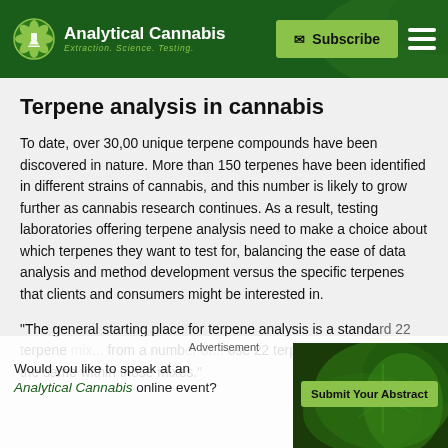Analytical Cannabis — Extraction. Science. Testing. | Subscribe
Terpene analysis in cannabis
To date, over 30,00 unique terpene compounds have been discovered in nature. More than 150 terpenes have been identified in different strains of cannabis, and this number is likely to grow further as cannabis research continues. As a result, testing laboratories offering terpene analysis need to make a choice about which terpenes they want to test for, balancing the ease of data analysis and method development versus the specific terpenes that clients and consumers might be interested in.
“The general starting place for terpene analysis is a standard 22 terpene mix... from a number of... those 22 terpenes are essentially the same within those mixes.”
[Figure (screenshot): Advertisement overlay: 'Would you like to speak at an Analytical Cannabis online event?' with Submit Your Abstract button and cannabis leaf background image]